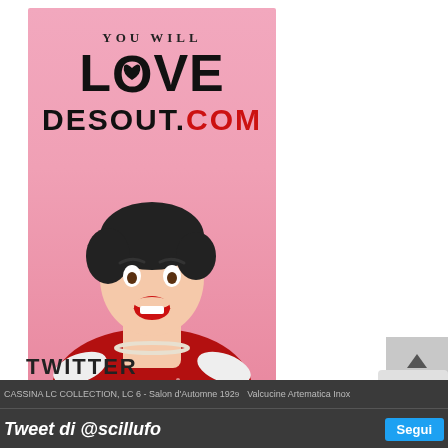[Figure (illustration): Advertisement image with pink background showing text 'YOU WILL LOVE DESOUT.COM' in bold letters and a retro-style woman with dark hair, red lipstick, white gloves, pearl necklace and red polka-dot dress looking surprised/excited]
TWITTER
[Figure (logo): reCAPTCHA logo/widget in gray box]
CASSINA LC COLLECTION, LC 6 - Salon d'Automne 1929  Valcucine Artematica Inox   Tweet di @scillufo   Segui